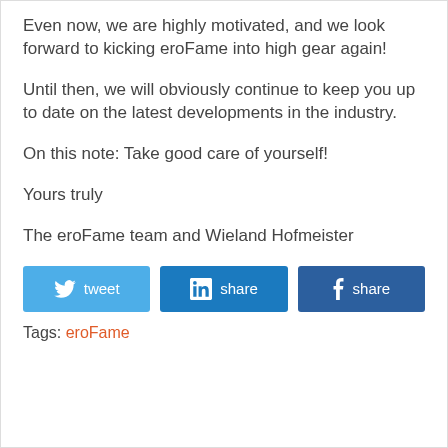Even now, we are highly motivated, and we look forward to kicking eroFame into high gear again!
Until then, we will obviously continue to keep you up to date on the latest developments in the industry.
On this note: Take good care of yourself!
Yours truly
The eroFame team and Wieland Hofmeister
[Figure (other): Social share buttons: tweet (Twitter/blue), share (LinkedIn/dark blue), share (Facebook/dark blue)]
Tags: eroFame